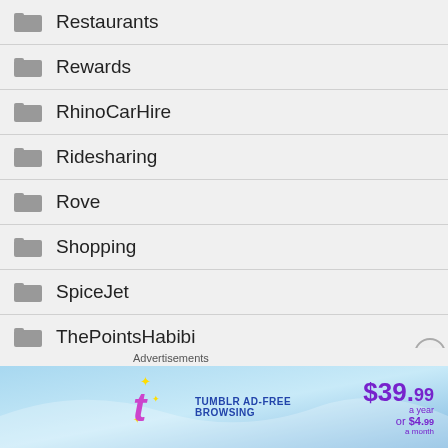Restaurants
Rewards
RhinoCarHire
Ridesharing
Rove
Shopping
SpiceJet
ThePointsHabibi
Advertisements
[Figure (other): Tumblr ad-free browsing advertisement banner: $39.99 a year or $4.99 a month]